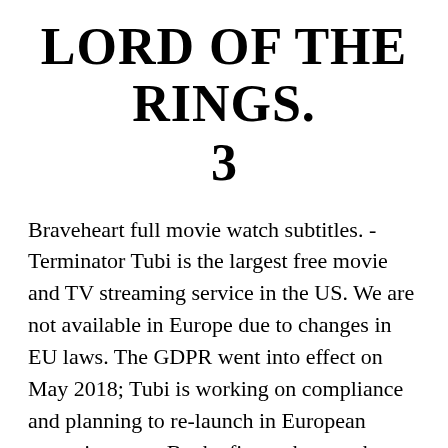LORD OF THE RINGS.
3
Braveheart full movie watch subtitles. - Terminator Tubi is the largest free movie and TV streaming service in the US. We are not available in Europe due to changes in EU laws. The GDPR went into effect on May 2018; Tubi is working on compliance and planning to re-launch in European countries soon. Be the first to know when Tubi is available in your country. Austria Contact Us. Watch braveheart full movie online free. I saw this Mel Gibson movie a few days ago called Blood Father it was a straight to DVD release but it is awesome check it out it is